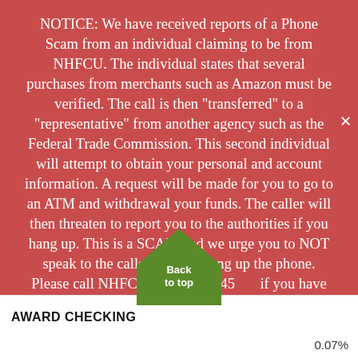NOTICE: We have received reports of a Phone Scam from an individual claiming to be from NHFCU. The individual states that several purchases from merchants such as Amazon must be verified. The call is then "transferred" to a "representative" from another agency such as the Federal Trade Commission. This second individual will attempt to obtain your personal and account information. A request will be made for you to go to an ATM and withdrawal your funds. The caller will then threaten to report you to the authorities if you hang up. This is a SCAM and we urge you to NOT speak to the caller. Simply hang up the phone. Please call NHFCU at 605-347-45[Back to top]if you have any questions regarding th[is] or other SCAM.
[Figure (other): Green arrow-shaped 'Back to top' button overlapping the text]
AWARD CHECKING
0.07%